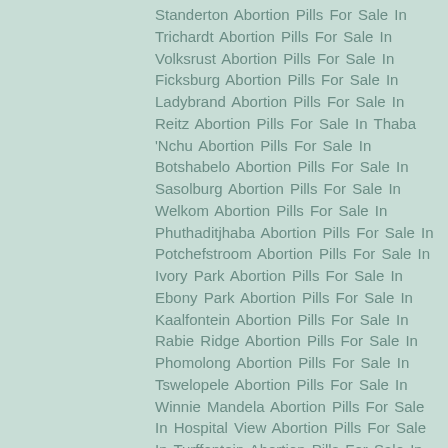Standerton Abortion Pills For Sale In Trichardt Abortion Pills For Sale In Volksrust Abortion Pills For Sale In Ficksburg Abortion Pills For Sale In Ladybrand Abortion Pills For Sale In Reitz Abortion Pills For Sale In Thaba 'Nchu Abortion Pills For Sale In Botshabelo Abortion Pills For Sale In Sasolburg Abortion Pills For Sale In Welkom Abortion Pills For Sale In Phuthaditjhaba Abortion Pills For Sale In Potchefstroom Abortion Pills For Sale In Ivory Park Abortion Pills For Sale In Ebony Park Abortion Pills For Sale In Kaalfontein Abortion Pills For Sale In Rabie Ridge Abortion Pills For Sale In Phomolong Abortion Pills For Sale In Tswelopele Abortion Pills For Sale In Winnie Mandela Abortion Pills For Sale In Hospital View Abortion Pills For Sale In Turffontein Abortion Pills For Sale In Braamfontein. Abortion Pills For Sale In Brixton Abortion Pills For Sale In Cresta Abortion Pills For